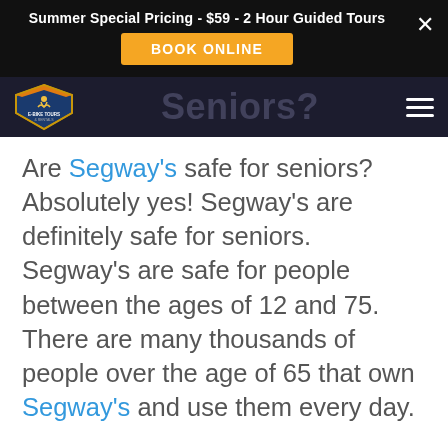Summer Special Pricing - $59 - 2 Hour Guided Tours
BOOK ONLINE
[Figure (logo): E-Bike Tours & Rentals shield logo with orange and blue colors and a cyclist silhouette]
Seniors?
Are Segway's safe for seniors? Absolutely yes! Segway's are definitely safe for seniors. Segway's are safe for people between the ages of 12 and 75. There are many thousands of people over the age of 65 that own Segway's and use them every day.